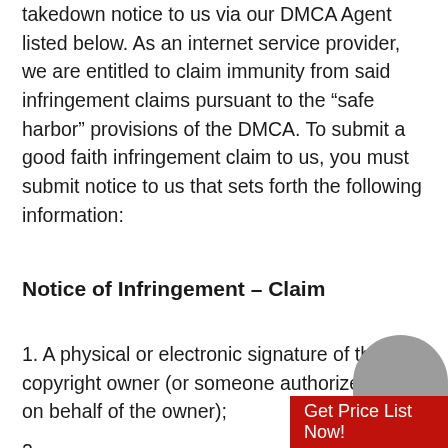takedown notice to us via our DMCA Agent listed below. As an internet service provider, we are entitled to claim immunity from said infringement claims pursuant to the “safe harbor” provisions of the DMCA. To submit a good faith infringement claim to us, you must submit notice to us that sets forth the following information:
Notice of Infringement – Claim
1. A physical or electronic signature of the copyright owner (or someone authorized to act on behalf of the owner);
2. Identification of [the copyrighted work that may] have been infringed;